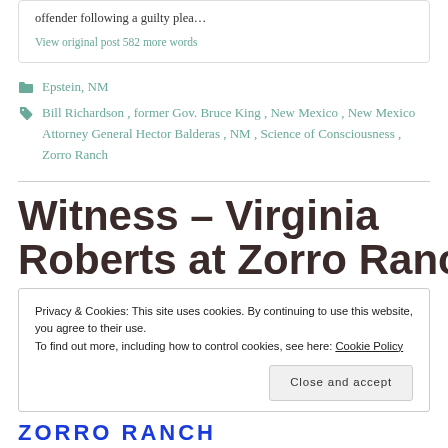offender following a guilty plea…
View original post 582 more words
Epstein, NM
Bill Richardson, former Gov. Bruce King, New Mexico, New Mexico Attorney General Hector Balderas, NM, Science of Consciousness, Zorro Ranch
Witness – Virginia
Roberts at Zorro Ranch
Privacy & Cookies: This site uses cookies. By continuing to use this website, you agree to their use. To find out more, including how to control cookies, see here: Cookie Policy
Close and accept
[Figure (logo): ZORRO RANCH logo in blue bold uppercase letters]